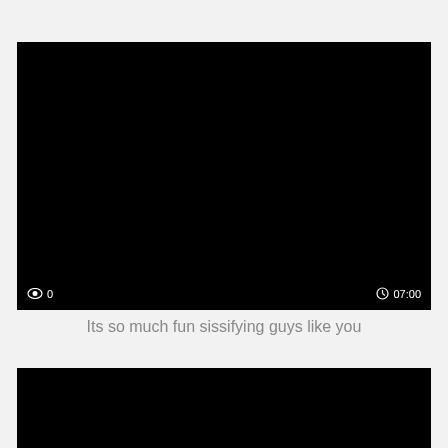[Figure (screenshot): Black video thumbnail with eye icon showing 0 views and clock icon showing 07:00 duration in bottom corners]
Its so much fun sissifying guys like you
[Figure (screenshot): Black video thumbnail, partially visible at bottom of page]